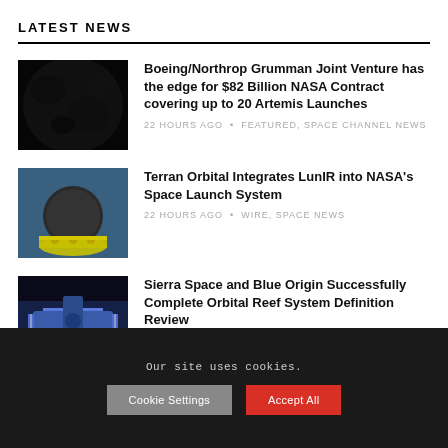LATEST NEWS
[Figure (photo): Dark image of the moon surface]
Boeing/Northrop Grumman Joint Venture has the edge for $82 Billion NASA Contract covering up to 20 Artemis Launches
22 HOURS AGO • FEATURED, SPACE CHANNEL NEWS
[Figure (photo): Terran Orbital LunIR spacecraft being integrated, yellow and green sphere visible]
Terran Orbital Integrates LunIR into NASA's Space Launch System
22 HOURS AGO • WIRE, SPACE NEWS
[Figure (photo): Blue space station or orbital structure against dark background]
Sierra Space and Blue Origin Successfully Complete Orbital Reef System Definition Review
Our site uses cookies.
Cookie Settings    Accept All